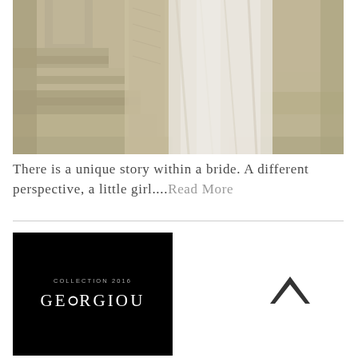[Figure (photo): Close-up of a white/cream bridal gown with flowing fabric draped over ancient stone steps or columns. The fabric has a lace or textured bodice detail and a silky skirt. The background features rough-hewn light stone architectural elements.]
There is a unique story within a bride. A different perspective, a little girl....Read More
[Figure (logo): Black background with 'COLLECTION 2016' in small spaced gray uppercase letters above 'GEORGIOU' in large white serif letters with a ring/circle replacing the letter O.]
[Figure (other): A dark chevron/caret pointing upward, indicating a scroll-to-top or back button.]